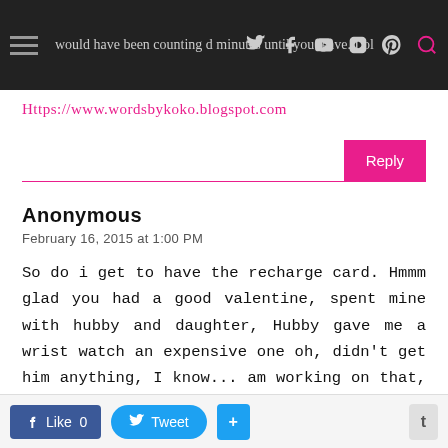would have been counting d minutes until you leave. Lol
Https://www.wordsbykoko.blogspot.com
Reply
Anonymous
February 16, 2015 at 1:00 PM
So do i get to have the recharge card. Hmmm glad you had a good valentine, spent mine with hubby and daughter, Hubby gave me a wrist watch an expensive one oh, didn't get him anything, I know... am working on that, that is getting him something.. cheers